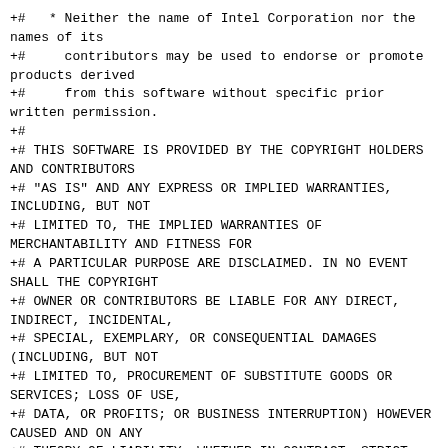+#   * Neither the name of Intel Corporation nor the names of its
+#     contributors may be used to endorse or promote products derived
+#     from this software without specific prior written permission.
+#
+# THIS SOFTWARE IS PROVIDED BY THE COPYRIGHT HOLDERS AND CONTRIBUTORS
+# "AS IS" AND ANY EXPRESS OR IMPLIED WARRANTIES, INCLUDING, BUT NOT
+# LIMITED TO, THE IMPLIED WARRANTIES OF MERCHANTABILITY AND FITNESS FOR
+# A PARTICULAR PURPOSE ARE DISCLAIMED. IN NO EVENT SHALL THE COPYRIGHT
+# OWNER OR CONTRIBUTORS BE LIABLE FOR ANY DIRECT, INDIRECT, INCIDENTAL,
+# SPECIAL, EXEMPLARY, OR CONSEQUENTIAL DAMAGES (INCLUDING, BUT NOT
+# LIMITED TO, PROCUREMENT OF SUBSTITUTE GOODS OR SERVICES; LOSS OF USE,
+# DATA, OR PROFITS; OR BUSINESS INTERRUPTION) HOWEVER CAUSED AND ON ANY
+# THEORY OF LIABILITY, WHETHER IN CONTRACT, STRICT LIABILITY, OR TORT
+# (INCLUDING NEGLIGENCE OR OTHERWISE) ARISING IN ANY WAY OUT OF THE USE
+# OF THIS SOFTWARE, EVEN IF ADVISED OF THE POSSIBILITY OF SUCH DAMAGE.
+